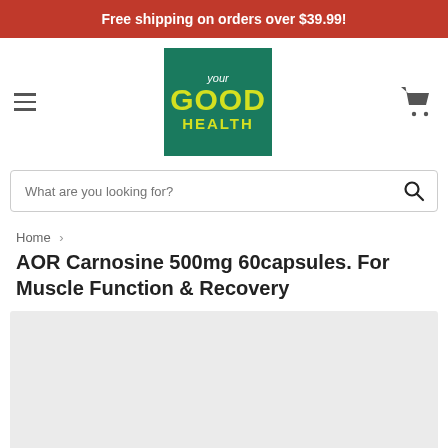Free shipping on orders over $39.99!
[Figure (logo): Your Good Health store logo — green square with 'your' in white italic, 'GOOD' in large yellow bold, 'HEALTH' in yellow bold below]
What are you looking for?
Home › AOR Carnosine 500mg 60capsules. For Muscle Function & Recovery
AOR Carnosine 500mg 60capsules. For Muscle Function & Recovery
[Figure (photo): Product image area — light grey placeholder rectangle]